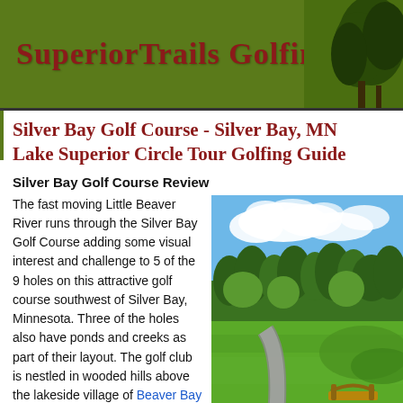SuperiorTrails Golfing
Silver Bay Golf Course - Silver Bay, MN Lake Superior Circle Tour Golfing Guide
Silver Bay Golf Course Review
The fast moving Little Beaver River runs through the Silver Bay Golf Course adding some visual interest and challenge to 5 of the 9 holes on this attractive golf course southwest of Silver Bay, Minnesota. Three of the holes also have ponds and creeks as part of their layout. The golf club is nestled in wooded hills above the lakeside village of Beaver Bay (but is more easily reached by road from Silver Bay).
[Figure (photo): Photo of Silver Bay Golf Course showing a paved cart path, green fairway, trees in background, and blue sky with clouds. A small bridge is visible.]